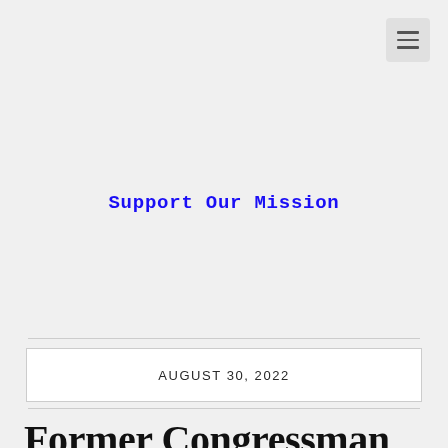[Figure (other): Hamburger menu icon button in top right corner]
Support Our Mission
AUGUST 30, 2022
Former Congressman